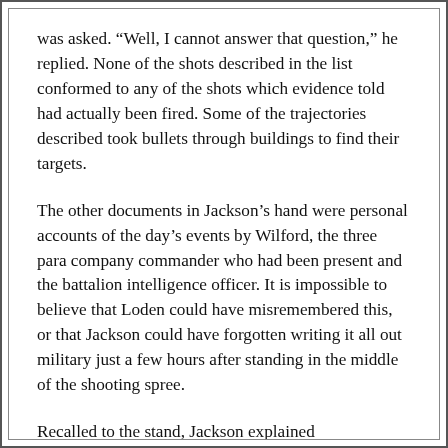was asked. “Well, I cannot answer that question,” he replied. None of the shots described in the list conformed to any of the shots which evidence told had actually been fired. Some of the trajectories described took bullets through buildings to find their targets.
The other documents in Jackson’s hand were personal accounts of the day’s events by Wilford, the three para company commander who had been present and the battalion intelligence officer. It is impossible to believe that Loden could have misremembered this, or that Jackson could have forgotten writing it all out military just a few hours after standing in the middle of the shooting spree.
Recalled to the stand, Jackson explained